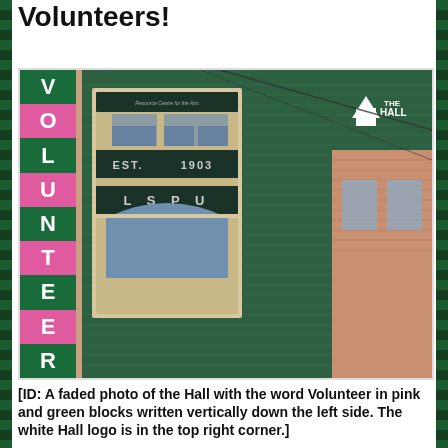Volunteers!
[Figure (photo): A faded photo of the Hall (LSPU Hall, Resource Centre for the Arts, Est. 1903) with the word VOLUNTEER in pink and green blocks written vertically down the left side. The white Hall logo is in the top right corner.]
[ID: A faded photo of the Hall with the word Volunteer in pink and green blocks written vertically down the left side. The white Hall logo is in the top right corner.]